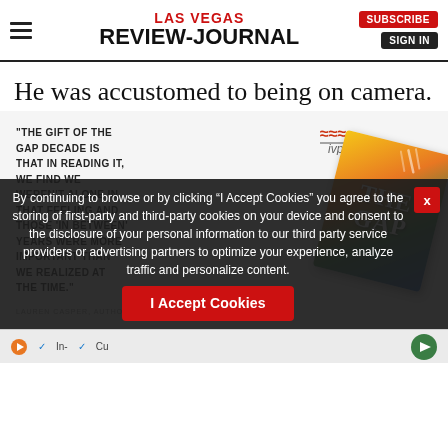LAS VEGAS REVIEW-JOURNAL
He was accustomed to being on camera.
[Figure (illustration): Advertisement for a book titled 'The Gap' with a pull quote: "THE GIFT OF THE GAP DECADE IS THAT IN READING IT, WE FIND WE WEREN'T ALONE IN THAT FEELING AND THOSE 'IN BETWEEN' YEARS WERE MORE IMPORTANT THAN WE REALIZED AT THE TIME." IVP logo shown. Book cover with colorful design visible.]
By continuing to browse or by clicking “I Accept Cookies” you agree to the storing of first-party and third-party cookies on your device and consent to the disclosure of your personal information to our third party service providers or advertising partners to optimize your experience, analyze traffic and personalize content.